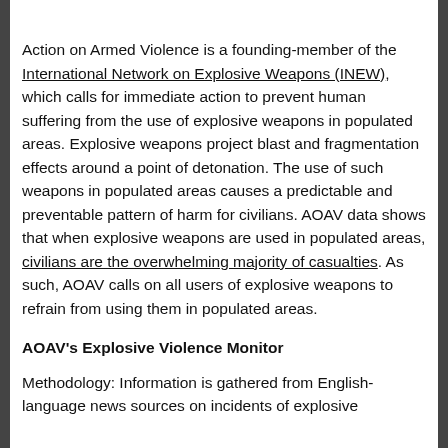Action on Armed Violence is a founding-member of the International Network on Explosive Weapons (INEW), which calls for immediate action to prevent human suffering from the use of explosive weapons in populated areas. Explosive weapons project blast and fragmentation effects around a point of detonation. The use of such weapons in populated areas causes a predictable and preventable pattern of harm for civilians. AOAV data shows that when explosive weapons are used in populated areas, civilians are the overwhelming majority of casualties. As such, AOAV calls on all users of explosive weapons to refrain from using them in populated areas.
AOAV's Explosive Violence Monitor
Methodology: Information is gathered from English-language news sources on incidents of explosive